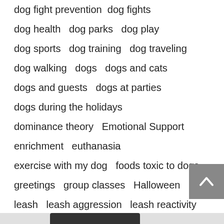dog fight prevention  dog fights
dog health  dog parks  dog play
dog sports  dog training  dog traveling
dog walking  dogs  dogs and cats
dogs and guests  dogs at parties
dogs during the holidays
dominance theory  Emotional Support
enrichment  euthanasia
exercise with my dog  foods toxic to dogs
greetings  group classes  Halloween
leash  leash aggression  leash reactivity
multi-dog households
multi-pet household  new kitten
new puppy  off leash play  pet hospice
pet tech  pit bu[...]havior